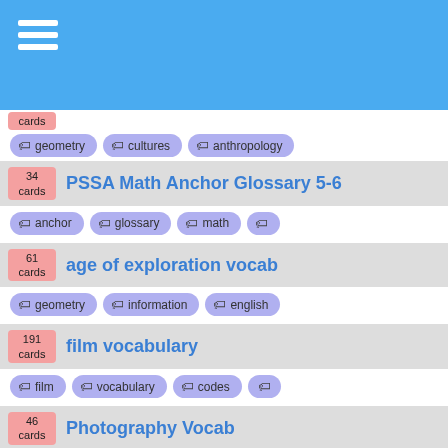cards
geometry | cultures | anthropology
34 cards - PSSA Math Anchor Glossary 5-6
anchor | glossary | math | m
61 cards - age of exploration vocab
geometry | information | english
191 cards - film vocabulary
film | vocabulary | codes
46 cards - Photography Vocab
photo | photography | chemistry
19 cards - science light waves vocab chapter 23 mrs
light | vocabulary | waves
60 cards - Aikido vocabulary
aikido | arts | dojo | japane